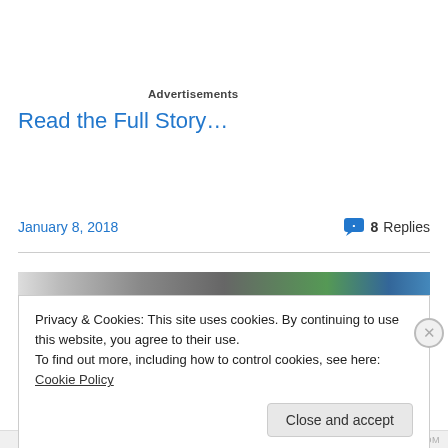Advertisements
Read the Full Story…
January 8, 2018
8 Replies
[Figure (photo): Partial image strip showing outdoor scene with greenery and sky]
Privacy & Cookies: This site uses cookies. By continuing to use this website, you agree to their use.
To find out more, including how to control cookies, see here: Cookie Policy
Close and accept
WORDPRESS.COM